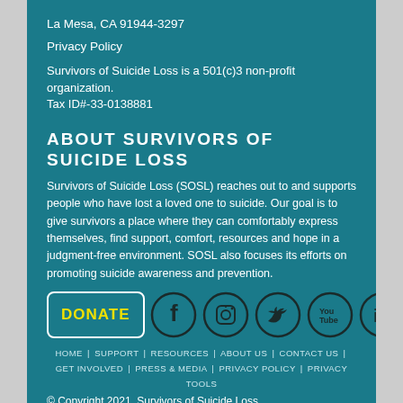La Mesa, CA 91944-3297
Privacy Policy
Survivors of Suicide Loss is a 501(c)3 non-profit organization. Tax ID#-33-0138881
ABOUT SURVIVORS OF SUICIDE LOSS
Survivors of Suicide Loss (SOSL) reaches out to and supports people who have lost a loved one to suicide. Our goal is to give survivors a place where they can comfortably express themselves, find support, comfort, resources and hope in a judgment-free environment. SOSL also focuses its efforts on promoting suicide awareness and prevention.
[Figure (infographic): DONATE button and social media icons: Facebook, Instagram, Twitter, YouTube, LinkedIn]
HOME | SUPPORT | RESOURCES | ABOUT US | CONTACT US | GET INVOLVED | PRESS & MEDIA | PRIVACY POLICY | PRIVACY TOOLS
© Copyright 2021, Survivors of Suicide Loss